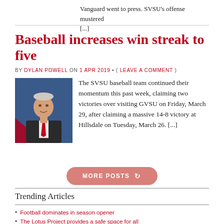Vanguard went to press. SVSU's offense mustered [...]
Baseball increases win streak to five
BY DYLAN POWELL ON 1 APR 2019 • ( LEAVE A COMMENT )
[Figure (photo): Headshot of a man in a dark suit with a red tie against a blue background]
The SVSU baseball team continued their momentum this past week, claiming two victories over visiting GVSU on Friday, March 29, after claiming a massive 14-8 victory at Hillsdale on Tuesday, March 26. [...]
MORE POSTS
Trending Articles
Football dominates in season opener
The Lotus Project provides a safe space for all
Drake's relationships with underage stars are concerning
Social media is powerful, but so are we
Cardinal Ball returns with theme 'Snow Ball'